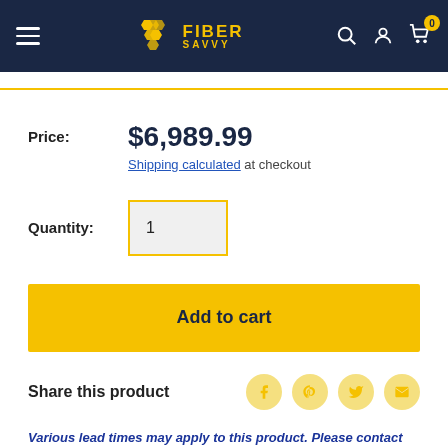Fiber Savvy — navigation bar with logo, search, account, and cart (0 items)
Price: $6,989.99
Shipping calculated at checkout
Quantity: 1
Add to cart
Share this product
Various lead times may apply to this product. Please contact us for more details.